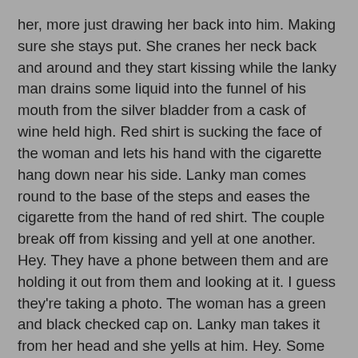her, more just drawing her back into him. Making sure she stays put. She cranes her neck back and around and they start kissing while the lanky man drains some liquid into the funnel of his mouth from the silver bladder from a cask of wine held high. Red shirt is sucking the face of the woman and lets his hand with the cigarette hang down near his side. Lanky man comes round to the base of the steps and eases the cigarette from the hand of red shirt. The couple break off from kissing and yell at one another. Hey. They have a phone between them and are holding it out from them and looking at it. I guess they're taking a photo. The woman has a green and black checked cap on. Lanky man takes it from her head and she yells at him. Hey. Some tinny music plays from the phone and lanky man dances around in front of them. The couple go back to kissing. Lanky man squats down and watches them, swaying a little on his haunches.